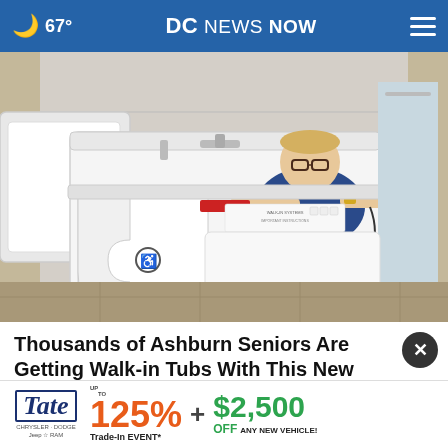🌙 67° | DC NEWS NOW
[Figure (photo): A man in a navy blue shirt sitting inside a white walk-in tub with accessibility symbol on the door, in a bathroom showroom setting with multiple tubs visible]
Thousands of Ashburn Seniors Are Getting Walk-in Tubs With This New Program
Smart
[Figure (other): Tate dealership advertisement: up to 125% Trade-In EVENT* + $2,500 OFF ANY NEW VEHICLE!]